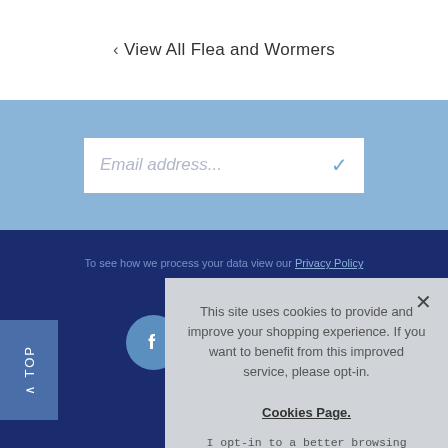‹ View All Flea and Wormers
[Figure (screenshot): Email address input field with placeholder text and a checkmark icon]
To see how we process your data view our Privacy Policy
FOLLOW US
[Figure (infographic): Three circular social media icons for Facebook, Twitter, and Instagram in light blue]
This site uses cookies to provide and improve your shopping experience. If you want to benefit from this improved service, please opt-in. Cookies Page.
I opt-in to a better browsing experience
ACCEPT COOKIES